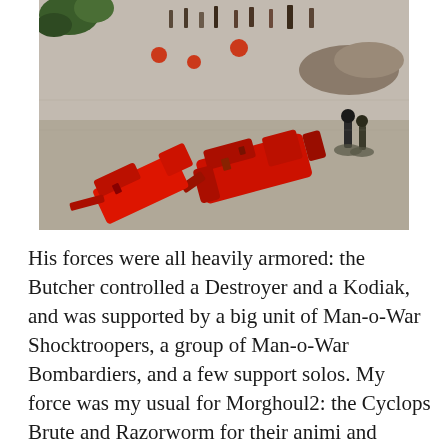[Figure (photo): Overhead photo of painted tabletop miniatures on a gray surface. In the foreground, large red armored warjack/mech models (Khador) lying damaged. In the background, various infantry and beast miniatures scattered across the battlefield with red casualty markers.]
His forces were all heavily armored: the Butcher controlled a Destroyer and a Kodiak, and was supported by a big unit of Man-o-War Shocktroopers, a group of Man-o-War Bombardiers, and a few support solos. My force was my usual for Morghoul2: the Cyclops Brute and Razorworm for their animi and protection and then a whole heap of heavy Warbeasts including a Bronzeback, an Aradus Sentinel, and